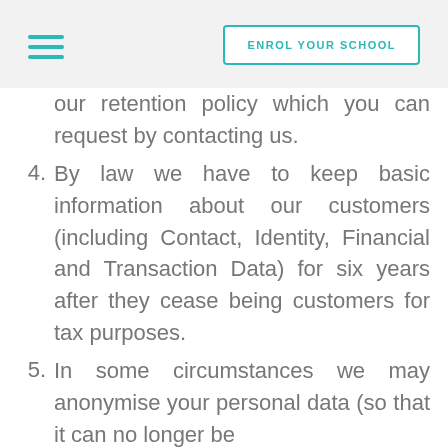ENROL YOUR SCHOOL
our retention policy which you can request by contacting us.
4. By law we have to keep basic information about our customers (including Contact, Identity, Financial and Transaction Data) for six years after they cease being customers for tax purposes.
5. In some circumstances we may anonymise your personal data (so that it can no longer be